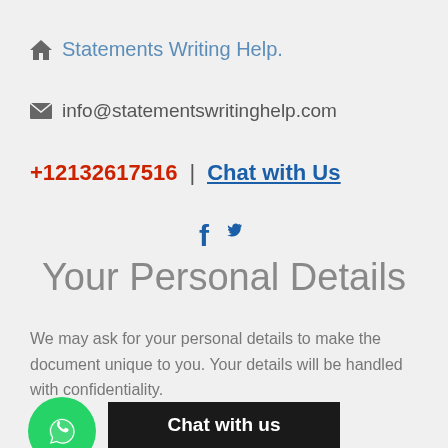Statements Writing Help.
info@statementswritinghelp.com
+12132617516  |  Chat with Us
[Figure (illustration): Facebook and Twitter social media icons in dark blue]
Your Personal Details
We may ask for your personal details to make the document unique to you. Your details will be handled with confidentiality.
SUBMIT HERE
[Figure (illustration): WhatsApp green circular button icon]
Chat with us